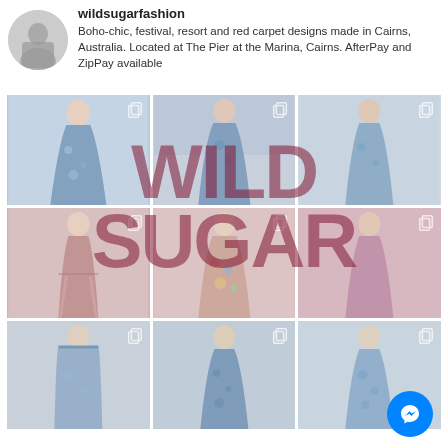wildsugarfashion
Boho-chic, festival, resort and red carpet designs made in Cairns, Australia. Located at The Pier at the Marina, Cairns. AfterPay and ZipPay available
[Figure (photo): Instagram profile grid for wildsugarfashion showing 9 fashion photos arranged in 3x3 grid with a large 'WILD SUGAR' watermark overlaid across the top two rows. Photos show women in various dresses - blue floral, pink, colorful. A blue Messenger chat button appears bottom right.]